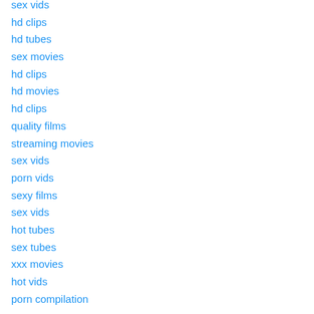sex vids
hd clips
hd tubes
sex movies
hd clips
hd movies
hd clips
quality films
streaming movies
sex vids
porn vids
sexy films
sex vids
hot tubes
sex tubes
xxx movies
hot vids
porn compilation